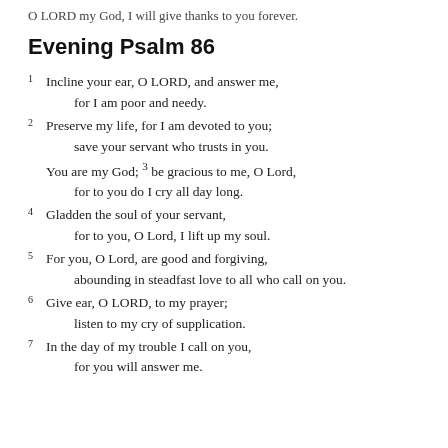O LORD my God, I will give thanks to you forever.
Evening Psalm 86
1 Incline your ear, O LORD, and answer me,
    for I am poor and needy.
2 Preserve my life, for I am devoted to you;
    save your servant who trusts in you.
  You are my God; 3 be gracious to me, O Lord,
    for to you do I cry all day long.
4 Gladden the soul of your servant,
    for to you, O Lord, I lift up my soul.
5 For you, O Lord, are good and forgiving,
    abounding in steadfast love to all who call on you.
6 Give ear, O LORD, to my prayer;
    listen to my cry of supplication.
7 In the day of my trouble I call on you,
    for you will answer me.